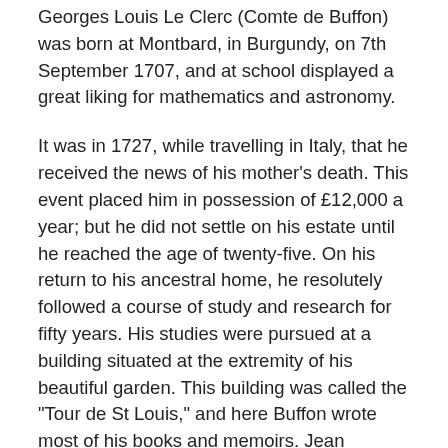Georges Louis Le Clerc (Comte de Buffon) was born at Montbard, in Burgundy, on 7th September 1707, and at school displayed a great liking for mathematics and astronomy.
It was in 1727, while travelling in Italy, that he received the news of his mother's death. This event placed him in possession of £12,000 a year; but he did not settle on his estate until he reached the age of twenty-five. On his return to his ancestral home, he resolutely followed a course of study and research for fifty years. His studies were pursued at a building situated at the extremity of his beautiful garden. This building was called the "Tour de St Louis," and here Buffon wrote most of his books and memoirs. Jean Jacques Rousseau, before he entered the "Tour," used to fall on his knees and kiss the threshold, stating that its possessor was the greatest zoologist of the age, and a master of style. Prince Henry of Prussia called